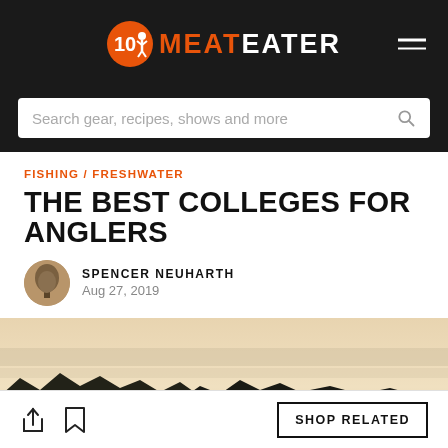MeatEater
Search gear, recipes, shows and more
FISHING / FRESHWATER
THE BEST COLLEGES FOR ANGLERS
SPENCER NEUHARTH
Aug 27, 2019
[Figure (photo): Outdoor fishing scene at dusk/dawn with silhouettes of trees and a person fishing on water with a calm lake and cloudy sky]
SHOP RELATED